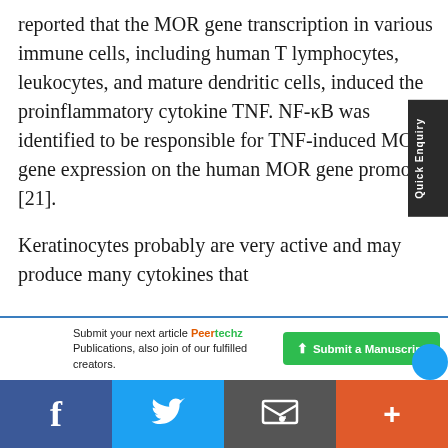reported that the MOR gene transcription in various immune cells, including human T lymphocytes, leukocytes, and mature dendritic cells, induced the proinflammatory cytokine TNF. NF-κB was identified to be responsible for TNF-induced MOR gene expression on the human MOR gene promoter [21].
Keratinocytes probably are very active and may produce many cytokines that
Submit your next article Peertechz Publications, also join of our fulfilled creators.
Facebook | Twitter | Email | +